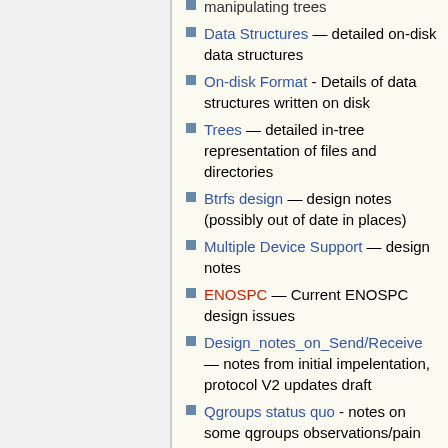manipulating trees
Data Structures — detailed on-disk data structures
On-disk Format - Details of data structures written on disk
Trees — detailed in-tree representation of files and directories
Btrfs design — design notes (possibly out of date in places)
Multiple Device Support — design notes
ENOSPC — Current ENOSPC design issues
Design_notes_on_Send/Receive — notes from initial impelentation, protocol V2 updates draft
Qgroups status quo - notes on some qgroups observations/pain points
Debugging Btrfs with GDB
Writing patch for btrfs